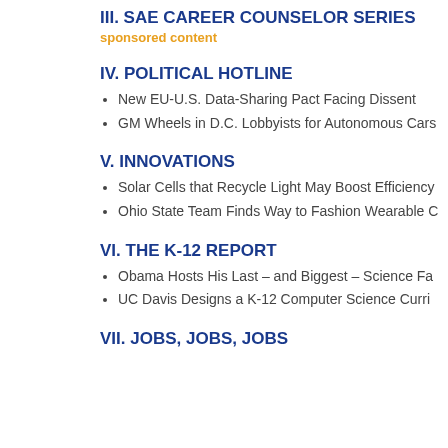III. SAE CAREER COUNSELOR SERIES
sponsored content
IV. POLITICAL HOTLINE
New EU-U.S. Data-Sharing Pact Facing Dissent
GM Wheels in D.C. Lobbyists for Autonomous Cars
V. INNOVATIONS
Solar Cells that Recycle Light May Boost Efficiency
Ohio State Team Finds Way to Fashion Wearable C
VI. THE K-12 REPORT
Obama Hosts His Last – and Biggest – Science Fa
UC Davis Designs a K-12 Computer Science Curri
VII. JOBS, JOBS, JOBS